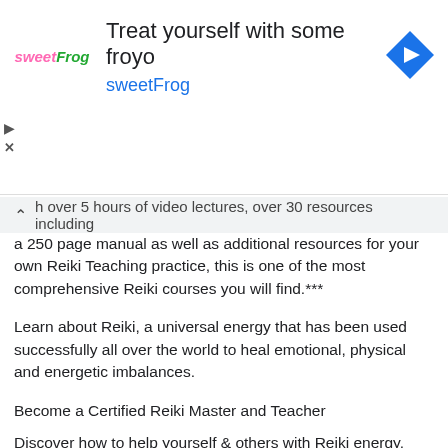[Figure (other): Advertisement banner for sweetFrog frozen yogurt with logo, text 'Treat yourself with some froyo', brand name 'sweetFrog', navigation arrow icon, and ad control icons]
h over 5 hours of video lectures, over 30 resources including a 250 page manual as well as additional resources for your own Reiki Teaching practice, this is one of the most comprehensive Reiki courses you will find.***
Learn about Reiki, a universal energy that has been used successfully all over the world to heal emotional, physical and energetic imbalances.
Become a Certified Reiki Master and Teacher
Discover how to help yourself & others with Reiki energy.
Are you drawn to energy work but just not sure how to begin or refine your existing practice?